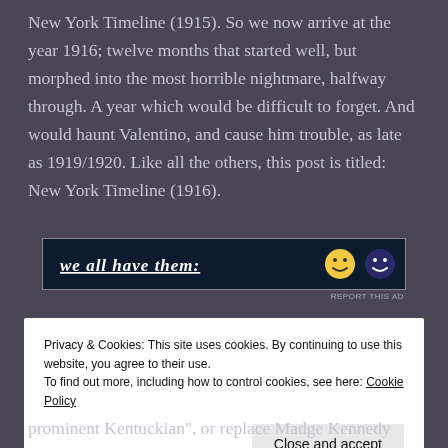New York Timeline (1915). So we now arrive at the year 1916; twelve months that started well, but morphed into the most horrible nightmare, halfway through. A year which would be difficult to forget. And would haunt Valentino, and cause him trouble, as late as 1919/1920. Like all the others, this post is titled: New York Timeline (1916).
[Figure (other): Advertisement banner on dark background with text 'we all have them:' in white italic underlined font, with smiley face icons on the right. Below it says 'REPORT THIS AD'.]
Privacy & Cookies: This site uses cookies. By continuing to use this website, you agree to their use. To find out more, including how to control cookies, see here: Cookie Policy
prominent Kentuckian", or replace Madge Kennedy